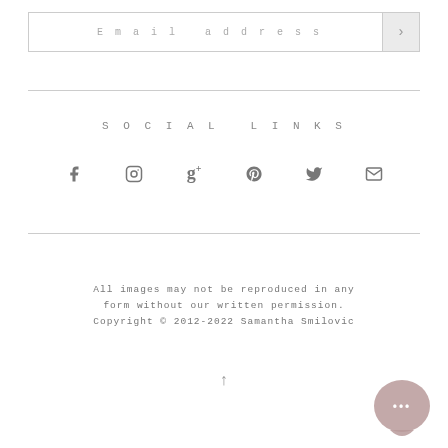Email address
SOCIAL LINKS
[Figure (infographic): Row of six social media icons: Facebook, Instagram, Google+, Pinterest, Twitter, Email]
All images may not be reproduced in any form without our written permission. Copyright © 2012-2022 Samantha Smilovic